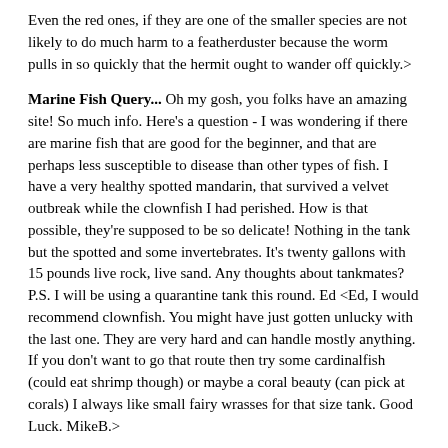Even the red ones, if they are one of the smaller species are not likely to do much harm to a featherduster because the worm pulls in so quickly that the hermit ought to wander off quickly.>
Marine Fish Query... Oh my gosh, you folks have an amazing site! So much info.  Here's a question - I was wondering if there are marine fish that are good for the beginner, and that are perhaps less susceptible to disease than other types of fish. I have a very healthy spotted mandarin, that survived a velvet outbreak while the clownfish I had perished. How is that possible, they're supposed to be so delicate!  Nothing in the tank but the spotted and some invertebrates. It's twenty gallons with 15 pounds live rock, live sand. Any thoughts about tankmates? P.S.  I will be using a quarantine tank this round.  Ed <Ed, I would recommend clownfish. You might have just gotten unlucky with the last one. They are very hard and can handle mostly anything. If you don't want to go that route then try some cardinalfish (could eat shrimp though) or maybe a coral beauty (can pick at corals) I always like small fairy wrasses for that size tank. Good Luck. MikeB.>
Three Angels? <Hi, MikeD here> Last month I added a juvenile blue angel and a flame angel (both about the same size) to my 125 (plus 15 gal sump) FOWLR (with 130 lbs rock). The flame angel was killed overnight.  Fortunately the LFS gave me store credit saying I never should have been sold both fish together. <Are you sure the killer was the Blue Angel?  Usually, if there